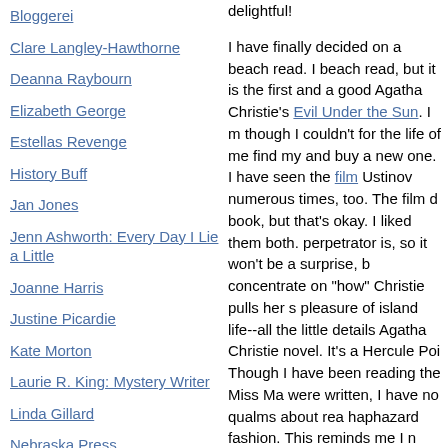Bloggerei
Clare Langley-Hawthorne
Deanna Raybourn
Elizabeth George
Estellas Revenge
History Buff
Jan Jones
Jenn Ashworth: Every Day I Lie a Little
Joanne Harris
Justine Picardie
Kate Morton
Laurie R. King: Mystery Writer
Linda Gillard
Nebraska Press
Overbooked: a resource for readers
Tasha Alexander
TBR Books (Litlove)
The Hesperus Press Blog
delightful!

I have finally decided on a beach read. It is not my first beach read, but it is the first and a good one. I chose Agatha Christie's Evil Under the Sun. I managed to find it though I couldn't for the life of me find my copy and had to go and buy a new one. I have seen the film with Peter Ustinov numerous times, too. The film does differ from the book, but that's okay. I liked them both. I already know who the perpetrator is, so it won't be a surprise, but I can concentrate on "how" Christie pulls her story together and the pleasure of island life--all the little details that make it an Agatha Christie novel. It's a Hercule Poirot mystery, too. Though I have been reading the Miss Marple books as they were written, I have no qualms about reading the Poirot's in haphazard fashion. This reminds me I need to read more Miss Marple soon. I love vintage crime mysteries in any spot.

One more find to share. I can't remember... Constellation of Genius: 1922: Modernism... Jackson, but it is a promising looking book that I brought home from the library, though I had to request it via interlibrary loan. It's a diary of sorts. It g